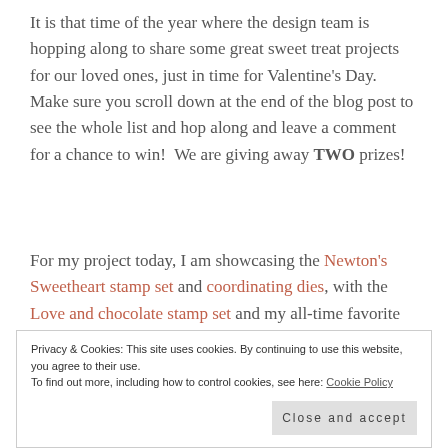It is that time of the year where the design team is hopping along to share some great sweet treat projects for our loved ones, just in time for Valentine's Day. Make sure you scroll down at the end of the blog post to see the whole list and hop along and leave a comment for a chance to win! We are giving away TWO prizes!
For my project today, I am showcasing the Newton's Sweetheart stamp set and coordinating dies, with the Love and chocolate stamp set and my all-time favorite die
Privacy & Cookies: This site uses cookies. By continuing to use this website, you agree to their use.
To find out more, including how to control cookies, see here: Cookie Policy
Close and accept
Here's the HOW-to: